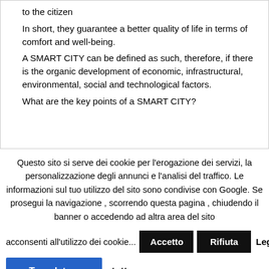to the citizen
In short, they guarantee a better quality of life in terms of comfort and well-being.
A SMART CITY can be defined as such, therefore, if there is the organic development of economic, infrastructural, environmental, social and technological factors.
What are the key points of a SMART CITY?
Questo sito si serve dei cookie per l'erogazione dei servizi, la personalizzazione degli annunci e l'analisi del traffico. Le informazioni sul tuo utilizzo del sito sono condivise con Google. Se prosegui la navigazione , scorrendo questa pagina , chiudendo il banner o accedendo ad altra area del sito acconsenti all'utilizzo dei cookie...
Accetto
Rifiuta
Leggi tutto
Translate »